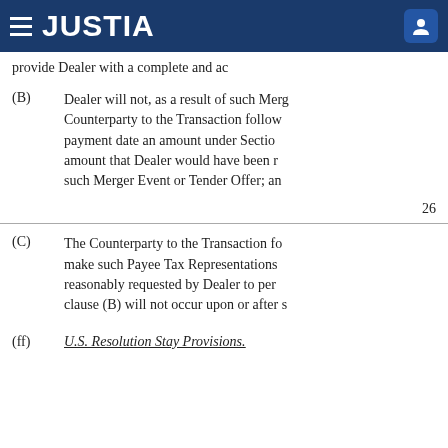JUSTIA
provide Dealer with a complete and ac
(B) Dealer will not, as a result of such Merger Event or Tender Offer, be required to pay to the Counterparty to the Transaction following such Merger Event or Tender Offer on any payment date an amount under Section that is materially greater than the amount that Dealer would have been required to pay absent the occurrence of such Merger Event or Tender Offer; an
26
(C) The Counterparty to the Transaction fo make such Payee Tax Representations reasonably requested by Dealer to per clause (B) will not occur upon or after s
(ff) U.S. Resolution Stay Provisions.